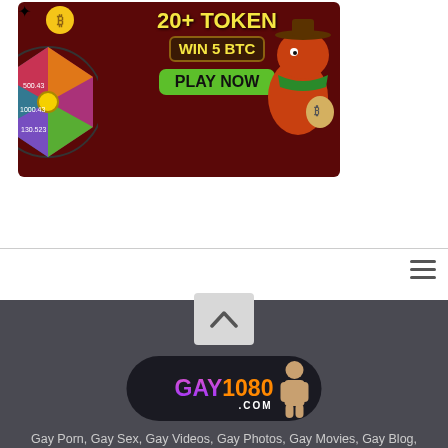[Figure (illustration): Dark red casino-themed advertisement banner showing '20+ TOKEN', 'WIN 5 BTC', 'PLAY NOW' green button, a spinning prize wheel on the left, and an animated orange dinosaur wearing a cowboy hat and green bandana holding a bitcoin bag on the right.]
[Figure (logo): GAY1080.COM website logo on dark rounded pill background with purple-to-pink gradient 'GAY', orange '1080', white '.COM', and a muscular male figure on the right.]
Gay Porn, Gay Sex, Gay Videos, Gay Photos, Gay Movies, Gay Blog, Gay Story